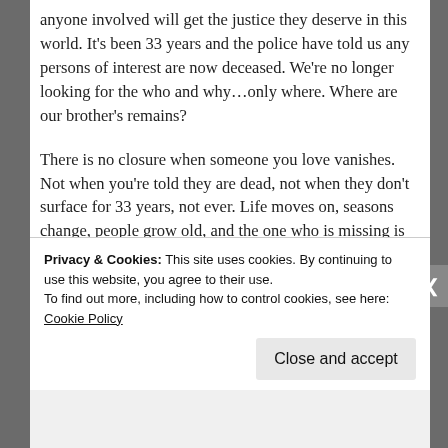anyone involved will get the justice they deserve in this world. It's been 33 years and the police have told us any persons of interest are now deceased. We're no longer looking for the who and why…only where. Where are our brother's remains?
There is no closure when someone you love vanishes. Not when you're told they are dead, not when they don't surface for 33 years, not ever. Life moves on, seasons change, people grow old, and the one who is missing is stuck forever at the age you last saw them; a part of you stays stuck with them.
Privacy & Cookies: This site uses cookies. By continuing to use this website, you agree to their use. To find out more, including how to control cookies, see here: Cookie Policy
Close and accept